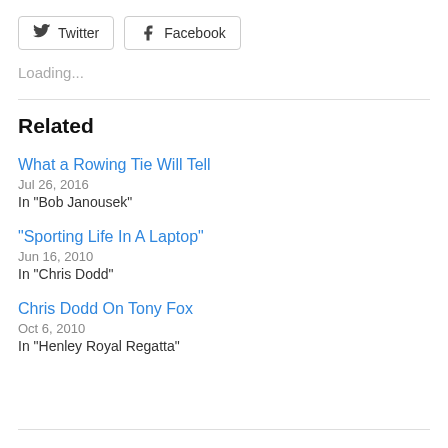[Figure (other): Twitter and Facebook social share buttons]
Loading...
Related
What a Rowing Tie Will Tell
Jul 26, 2016
In "Bob Janousek"
"Sporting Life In A Laptop"
Jun 16, 2010
In "Chris Dodd"
Chris Dodd On Tony Fox
Oct 6, 2010
In "Henley Royal Regatta"